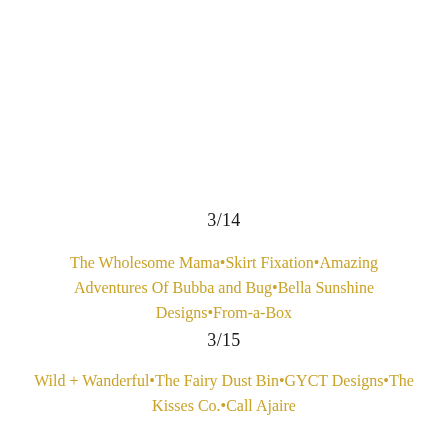3/14
The Wholesome Mama•Skirt Fixation•Amazing Adventures Of Bubba and Bug•Bella Sunshine Designs•From-a-Box
3/15
Wild + Wanderful•The Fairy Dust Bin•GYCT Designs•The Kisses Co.•Call Ajaire